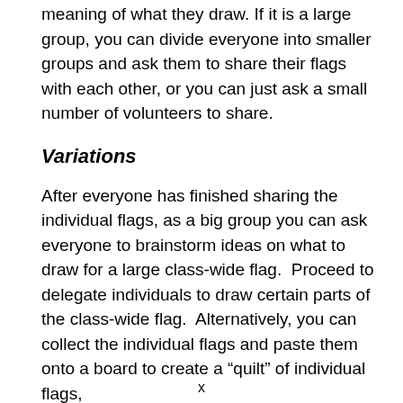meaning of what they draw. If it is a large group, you can divide everyone into smaller groups and ask them to share their flags with each other, or you can just ask a small number of volunteers to share.
Variations
After everyone has finished sharing the individual flags, as a big group you can ask everyone to brainstorm ideas on what to draw for a large class-wide flag.  Proceed to delegate individuals to draw certain parts of the class-wide flag.  Alternatively, you can collect the individual flags and paste them onto a board to create a “quilt” of individual flags,
x